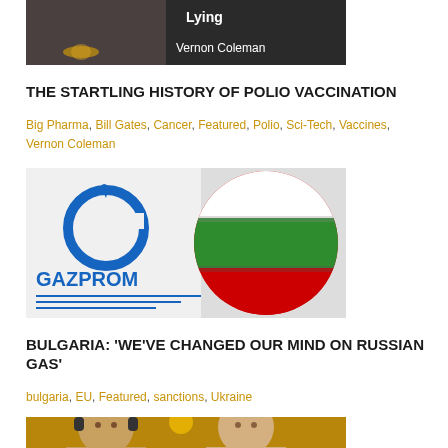[Figure (photo): Top of page: partial image showing a man in bow tie and text 'Lying Vernon Coleman' on dark background]
THE STARTLING HISTORY OF POLIO VACCINATION
Big Pharma, Bill Gates, Cancer, Featured, Polio, Sci-Tech, Vaccines, Vernon Coleman
[Figure (photo): Gazprom logo sign with blurred Bulgarian flag in background (red, white, green striped sphere)]
BULGARIA: ‘WE’VE CHANGED OUR MIND ON RUSSIAN GAS’
bulgaria, EU, Featured, sanctions, Ukraine
[Figure (photo): Partial image at bottom showing two people, partially cut off]